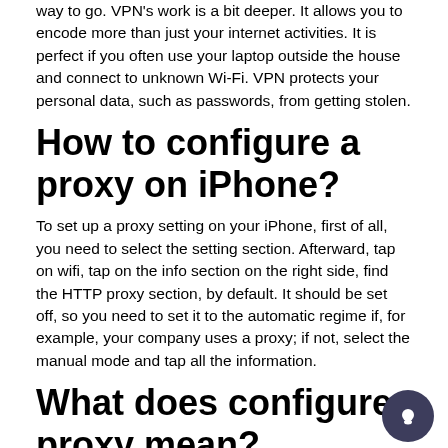way to go. VPN's work is a bit deeper. It allows you to encode more than just your internet activities. It is perfect if you often use your laptop outside the house and connect to unknown Wi-Fi. VPN protects your personal data, such as passwords, from getting stolen.
How to configure a proxy on iPhone?
To set up a proxy setting on your iPhone, first of all, you need to select the setting section. Afterward, tap on wifi, tap on the info section on the right side, find the HTTP proxy section, by default. It should be set off, so you need to set it to the automatic regime if, for example, your company uses a proxy; if not, select the manual mode and tap all the information.
What does configure proxy mean?
Proxy configuration is a process when you make the